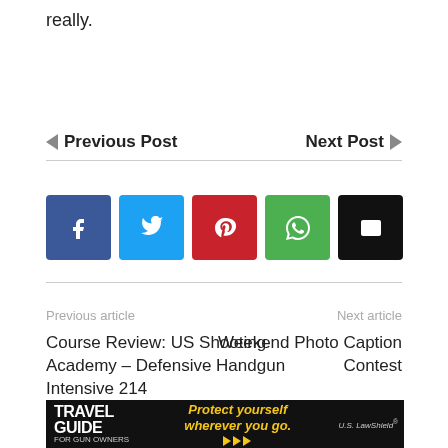really.
Previous Post   Next Post
[Figure (other): Social share buttons: Facebook (blue), Twitter (light blue), Pinterest (red), WhatsApp (green), Email (black)]
Previous article
Next article
Course Review: US Shooting Academy – Defensive Handgun Intensive 214
Weekend Photo Caption Contest
[Figure (photo): Travel Guide for Gun Owners advertisement banner: 'Protect yourself wherever you go.' with US LawShield branding]